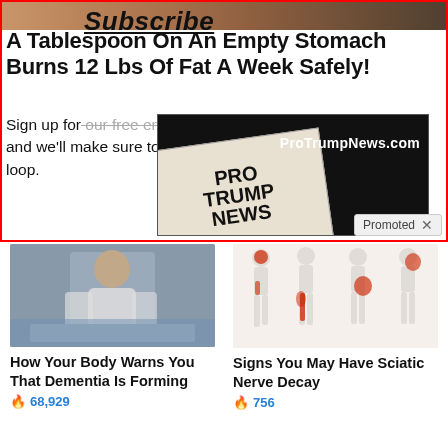[Figure (screenshot): Top section with red border showing a partial image of legs at top, headline text about burning fat, subscribe overlay text, newsletter sign-up form text, ProTrumpNews.com advertisement overlay with newspaper graphic, and Promoted badge]
A Tablespoon On An Empty Stomach Burns 12 Lbs Of Fat A Week Safely!
Sign up for our free email newsletter, and we'll make sure to keep you in the loop.
t Name
[Figure (photo): Person hunched over sitting on a bed, appearing unwell, wearing white clothing]
How Your Body Warns You That Dementia Is Forming
🔥 68,929
[Figure (illustration): Medical illustration showing four human body silhouettes with red highlighted areas indicating sciatic nerve pain locations]
Signs You May Have Sciatic Nerve Decay
🔥 756